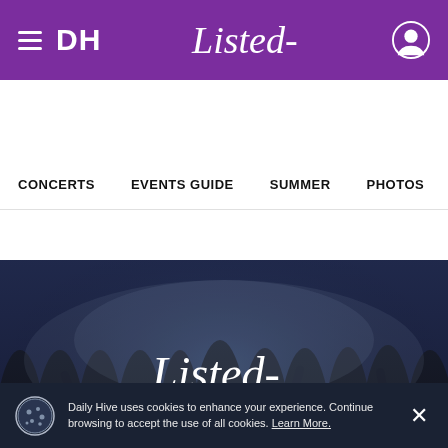DH Listed - Events Guide navigation header
CONCERTS  EVENTS GUIDE  SUMMER  PHOTOS
[Figure (screenshot): Hero banner with crowd silhouette background, Listed logo in script font, and EVENTS GUIDE text overlay]
Category
Date →
Daily Hive uses cookies to enhance your experience. Continue browsing to accept the use of all cookies. Learn More.